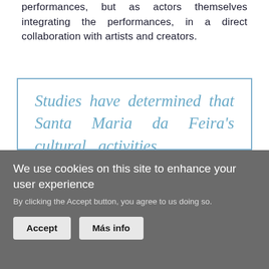performances, but as actors themselves integrating the performances, in a direct collaboration with artists and creators.
Studies have determined that Santa Maria da Feira's cultural activities audience is heterogeneous, ranging in age from 25 to 50, looking for new cultural experiences, remaining
We use cookies on this site to enhance your user experience
By clicking the Accept button, you agree to us doing so.